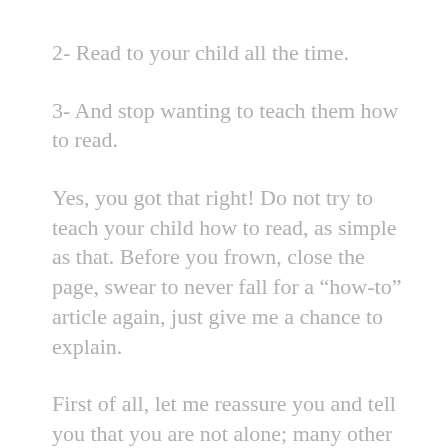2- Read to your child all the time.
3- And stop wanting to teach them how to read.
Yes, you got that right! Do not try to teach your child how to read, as simple as that. Before you frown, close the page, swear to never fall for a “how-to” article again, just give me a chance to explain.
First of all, let me reassure you and tell you that you are not alone; many other kids seem to hate reading and turn their nose up